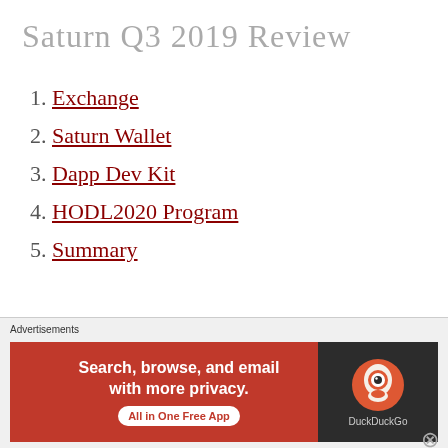Saturn Q3 2019 Review
1. Exchange
2. Saturn Wallet
3. Dapp Dev Kit
4. HODL2020 Program
5. Summary
Exchange Q3 Summary
Advertisements
[Figure (infographic): DuckDuckGo advertisement banner: 'Search, browse, and email with more privacy. All in One Free App' with DuckDuckGo logo on dark background]